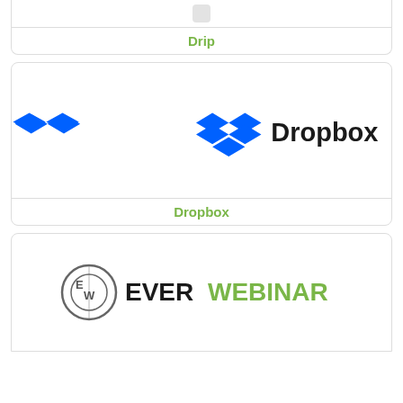[Figure (logo): Drip logo (partial, top cropped)]
Drip
[Figure (logo): Dropbox logo with blue diamond icon and black Dropbox text]
Dropbox
[Figure (logo): EverWebinar logo with circular EW icon and EVERWEBINAR text in green/black]